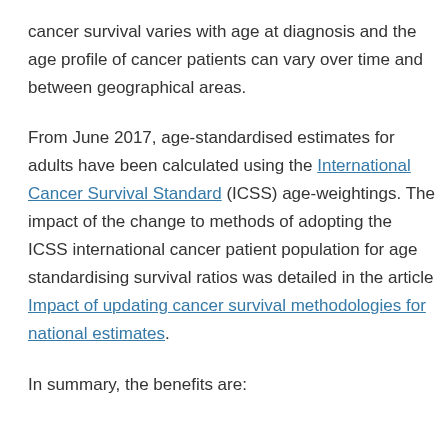cancer survival varies with age at diagnosis and the age profile of cancer patients can vary over time and between geographical areas.
From June 2017, age-standardised estimates for adults have been calculated using the International Cancer Survival Standard (ICSS) age-weightings. The impact of the change to methods of adopting the ICSS international cancer patient population for age standardising survival ratios was detailed in the article Impact of updating cancer survival methodologies for national estimates.
In summary, the benefits are: